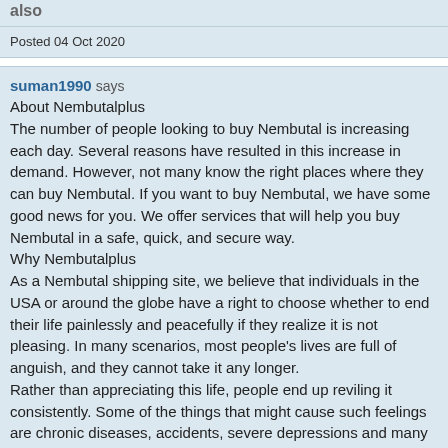also
Posted 04 Oct 2020
suman1990 says
About Nembutalplus
The number of people looking to buy Nembutal is increasing each day. Several reasons have resulted in this increase in demand. However, not many know the right places where they can buy Nembutal. If you want to buy Nembutal, we have some good news for you. We offer services that will help you buy Nembutal in a safe, quick, and secure way.
Why Nembutalplus
As a Nembutal shipping site, we believe that individuals in the USA or around the globe have a right to choose whether to end their life painlessly and peacefully if they realize it is not pleasing. In many scenarios, most people's lives are full of anguish, and they cannot take it any longer.
Rather than appreciating this life, people end up reviling it consistently. Some of the things that might cause such feelings are chronic diseases, accidents, severe depressions and many more. For this reason, suicide through Nembutal from our site comes in handy Buy Nembutal online